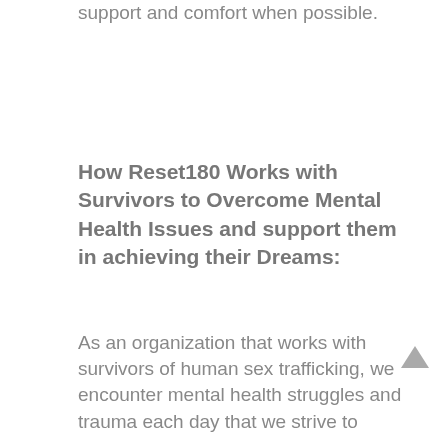support and comfort when possible.
How Reset180 Works with Survivors to Overcome Mental Health Issues and support them in achieving their Dreams:
As an organization that works with survivors of human sex trafficking, we encounter mental health struggles and trauma each day that we strive to